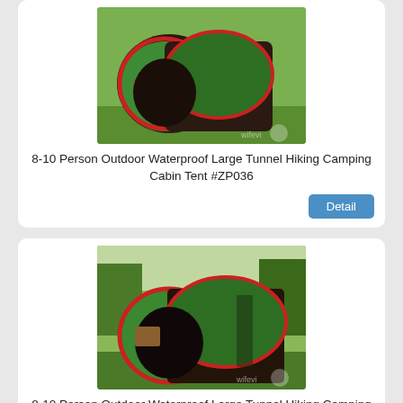[Figure (photo): Large tunnel camping tent with green and dark brown panels, red trim, set up on grass]
8-10 Person Outdoor Waterproof Large Tunnel Hiking Camping Cabin Tent #ZP036
Detail
[Figure (photo): Large tunnel camping tent with green and dark brown panels, red trim, set up on grass (same model, different angle)]
8-10 Person Outdoor Waterproof Large Tunnel Hiking Camping Cabin Tent #ZP036
Detail
[Figure (photo): Orange dome tent set up outdoors with trees in background (partially visible, cropped)]